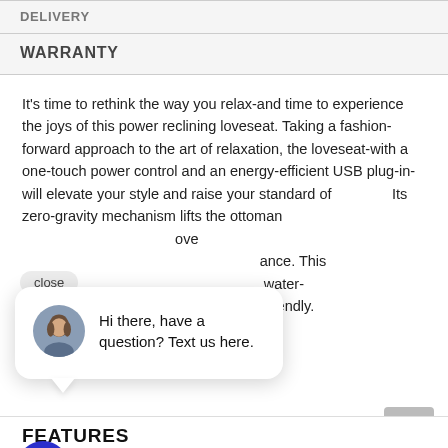DELIVERY
WARRANTY
It's time to rethink the way you relax-and time to experience the joys of this power reclining loveseat. Taking a fashion-forward approach to the art of relaxation, the loveseat-with a one-touch power control and an energy-efficient USB plug-in-will elevate your style and raise your standard of. Its zero-gravity mechanism lifts the ottoman ove ance. This water- et-friendly.
[Figure (other): Chat popup with female avatar photo and text: Hi there, have a question? Text us here. With close button and chat bubble icon button.]
FEATURES